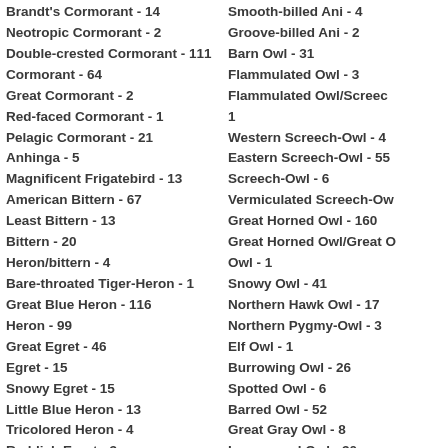Brandt's Cormorant - 14
Neotropic Cormorant - 2
Double-crested Cormorant - 111
Cormorant - 64
Great Cormorant - 2
Red-faced Cormorant - 1
Pelagic Cormorant - 21
Anhinga - 5
Magnificent Frigatebird - 13
American Bittern - 67
Least Bittern - 13
Bittern - 20
Heron/bittern - 4
Bare-throated Tiger-Heron - 1
Great Blue Heron - 116
Heron - 99
Great Egret - 46
Egret - 15
Snowy Egret - 15
Little Blue Heron - 13
Tricolored Heron - 4
Reddish Egret - 3
Smooth-billed Ani - 4
Groove-billed Ani - 2
Barn Owl - 31
Flammulated Owl - 3
Flammulated Owl/Screech - 1
Western Screech-Owl - 4
Eastern Screech-Owl - 55
Screech-Owl - 6
Vermiculated Screech-Owl
Great Horned Owl - 160
Great Horned Owl/Great Owl - 1
Snowy Owl - 41
Northern Hawk Owl - 17
Northern Pygmy-Owl - 3
Elf Owl - 1
Burrowing Owl - 26
Spotted Owl - 6
Barred Owl - 52
Great Gray Owl - 8
Long-eared Owl - 30